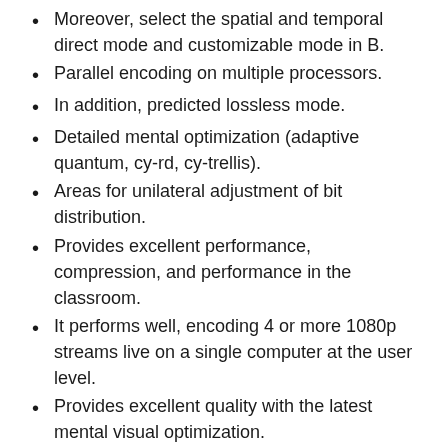Moreover, select the spatial and temporal direct mode and customizable mode in B.
Parallel encoding on multiple processors.
In addition, predicted lossless mode.
Detailed mental optimization (adaptive quantum, cy-rd, cy-trellis).
Areas for unilateral adjustment of bit distribution.
Provides excellent performance, compression, and performance in the classroom.
It performs well, encoding 4 or more 1080p streams live on a single computer at the user level.
Provides excellent quality with the latest mental visual optimization.